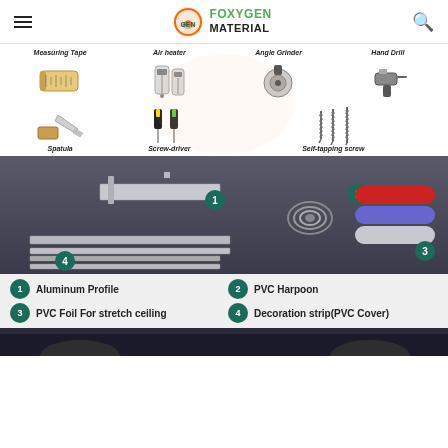FOXYGEN MATERIAL
[Figure (infographic): Tools required: Measuring Tape, Air heater, Angle Grinder, Hand Drill (top row), Spatula, Screw-driver, Self-tapping screw (bottom row)]
[Figure (infographic): Product components diagram showing 4 numbered items on dark background: 1-Aluminum Profile, 2-PVC Harpoon, 3-PVC Foil rolls, 4-Decoration strip]
1 Aluminum Profile
2 PVC Harpoon
3 PVC Foil For stretch ceiling
4 Decoration strip(PVC Cover)
[Figure (photo): Bottom strip showing stretch ceiling installation photo]